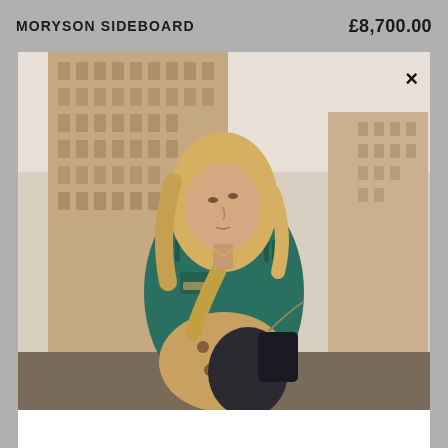MORYSON SIDEBOARD
£8,700.00
[Figure (photo): Street style fashion photo of a blonde woman wearing a teal/green fringe denim vest over a leopard print dress, holding a dark handbag with a chain strap, standing in front of a tall brick building in an urban setting. A close X button is visible in the upper right corner of the image.]
×